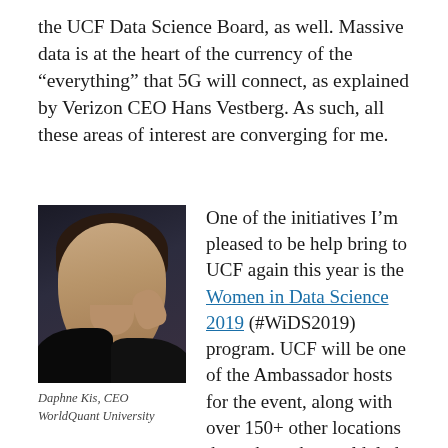the UCF Data Science Board, as well. Massive data is at the heart of the currency of the “everything” that 5G will connect, as explained by Verizon CEO Hans Vestberg. As such, all these areas of interest are converging for me.
[Figure (photo): Portrait photograph of Daphne Kis, a woman with dark hair, wearing a dark outfit, posed with hand near chin against a dark background.]
Daphne Kis, CEO WorldQuant University
One of the initiatives I’m pleased to be help bring to UCF again this year is the Women in Data Science 2019 (#WiDS2019) program. UCF will be one of the Ambassador hosts for the event, along with over 150+ other locations throughout the world, led by the team from Stanford